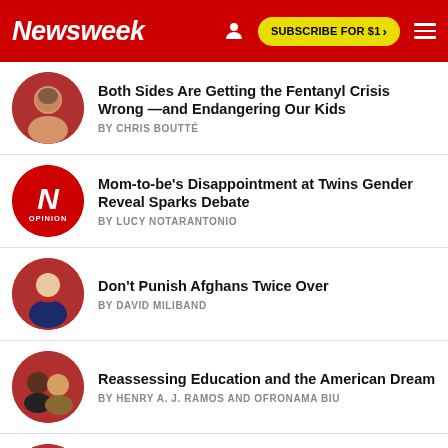Newsweek | SUBSCRIBE FOR $1 >
Both Sides Are Getting the Fentanyl Crisis Wrong —and Endangering Our Kids
BY CHRIS BOUTTÉ
Mom-to-be's Disappointment at Twins Gender Reveal Sparks Debate
BY LUCY NOTARANTONIO
Don't Punish Afghans Twice Over
BY DAVID MILIBAND
Reassessing Education and the American Dream
BY HENRY A. J. RAMOS AND OFRONAMA BIU
Let Ukraine's Grain Deal Lead to a Peace Deal
BY WILLIAM LAMBERS